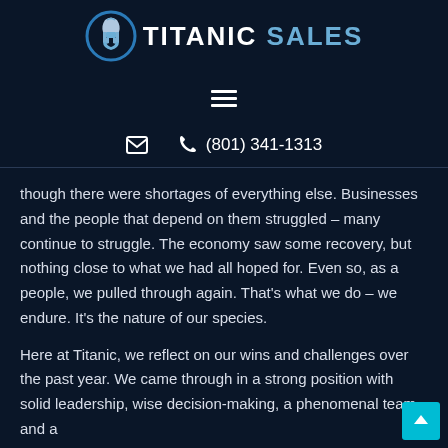[Figure (logo): Titanic Sales logo with Spartan helmet icon in blue circle and bold text 'TITANIC SALES']
[Figure (other): Hamburger menu icon (three horizontal lines)]
✉  ☎ (801) 341-1313
though there were shortages of everything else. Businesses and the people that depend on them struggled – many continue to struggle. The economy saw some recovery, but nothing close to what we had all hoped for. Even so, as a people, we pulled through again. That's what we do – we endure. It's the nature of our species.
Here at Titanic, we reflect on our wins and challenges over the past year. We came through in a strong position with solid leadership, wise decision-making, a phenomenal team, and a